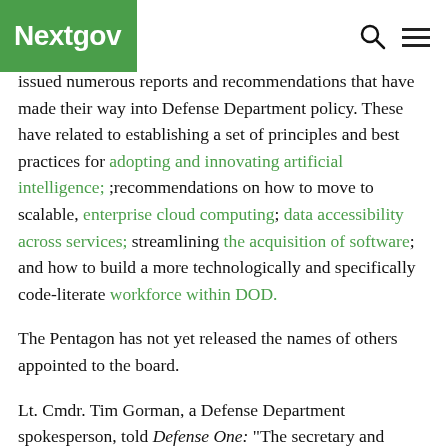Nextgov
issued numerous reports and recommendations that have made their way into Defense Department policy. These have related to establishing a set of principles and best practices for adopting and innovating artificial intelligence; ;recommendations on how to move to scalable, enterprise cloud computing; data accessibility across services; streamlining the acquisition of software; and how to build a more technologically and specifically code-literate workforce within DOD.
The Pentagon has not yet released the names of others appointed to the board.
Lt. Cmdr. Tim Gorman, a Defense Department spokesperson, told Defense One: "The secretary and senior department leaders are currently reviewing candidates. The secretary's priority is to ensure Michael Bloomberg has a strong team of experts that represent the diversity of America who will provide expert advice and who can serve. This is indeed a position that is for..."